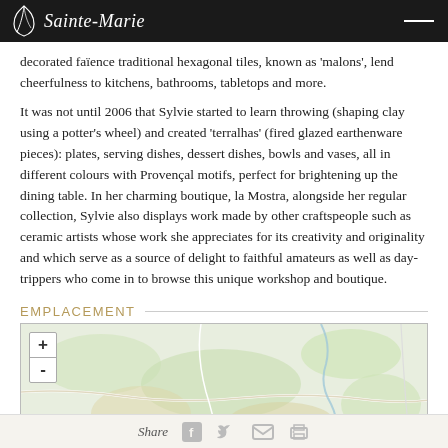Sainte-Marie
decorated faïence traditional hexagonal tiles, known as 'malons', lend cheerfulness to kitchens, bathrooms, tabletops and more.
It was not until 2006 that Sylvie started to learn throwing (shaping clay using a potter's wheel) and created 'terralhas' (fired glazed earthenware pieces): plates, serving dishes, dessert dishes, bowls and vases, all in different colours with Provençal motifs, perfect for brightening up the dining table. In her charming boutique, la Mostra, alongside her regular collection, Sylvie also displays work made by other craftspeople such as ceramic artists whose work she appreciates for its creativity and originality and which serve as a source of delight to faithful amateurs as well as day-trippers who come in to browse this unique workshop and boutique.
EMPLACEMENT
[Figure (map): A map showing a terrain view with roads, green areas, and terrain features. Map has zoom controls (+/-) in the top-left corner.]
Share